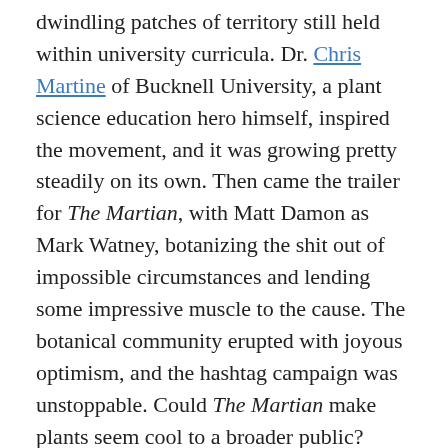dwindling patches of territory still held within university curricula. Dr. Chris Martine of Bucknell University, a plant science education hero himself, inspired the movement, and it was growing pretty steadily on its own. Then came the trailer for The Martian, with Matt Damon as Mark Watney, botanizing the shit out of impossible circumstances and lending some impressive muscle to the cause. The botanical community erupted with joyous optimism, and the hashtag campaign was unstoppable. Could The Martian make plants seem cool to a broader public? Early anecdotes suggest it's possible, and Dr. Martine is naming a newly described plant species (a close potato relative) for Astronaut Mark Watney.
In the film, that potato – or actually box of potatoes – was among the rations sent by NASA to comfort the crew on Thanksgiving during a very long mission to Mars. After an accident, when the rest of the crew leaves him for dead, Watney has to generate calories as fast as he can. It's a beautiful moment in the movie when he finds the potatoes.